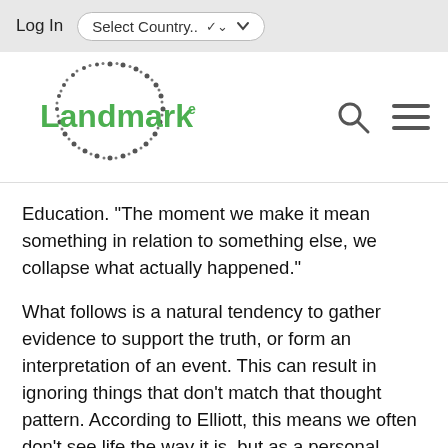Log In   Select Country..
[Figure (logo): Landmark Education logo with dotted circle and green text 'Landmark' with superscript 'e']
Education. "The moment we make it mean something in relation to something else, we collapse what actually happened."
What follows is a natural tendency to gather evidence to support the truth, or form an interpretation of an event. This can result in ignoring things that don't match that thought pattern. According to Elliott, this means we often don't see life the way it is, but as a personal version filtered through how we see the decisions we've made. A good example of this is how past partners (or even parents) often haunt current relationships. "We think we are relating to the person